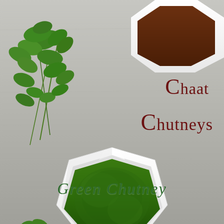[Figure (photo): A white hexagonal bowl filled with vibrant green chutney, surrounded by fresh cilantro leaves on a grey wooden surface. In the background, another white bowl with dark brown tamarind chutney is partially visible.]
Chaat Chutneys
Green Chutney